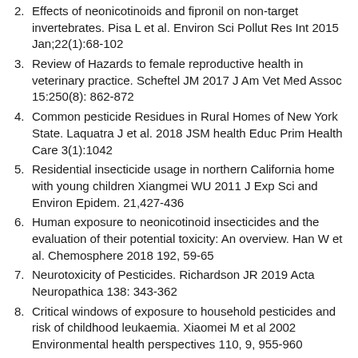Effects of neonicotinoids and fipronil on non-target invertebrates. Pisa L et al. Environ Sci Pollut Res Int 2015 Jan;22(1):68-102
Review of Hazards to female reproductive health in veterinary practice. Scheftel JM 2017 J Am Vet Med Assoc 15:250(8): 862-872
Common pesticide Residues in Rural Homes of New York State. Laquatra J et al. 2018 JSM health Educ Prim Health Care 3(1):1042
Residential insecticide usage in northern California home with young children Xiangmei WU 2011 J Exp Sci and Environ Epidem. 21,427-436
Human exposure to neonicotinoid insecticides and the evaluation of their potential toxicity: An overview. Han W et al. Chemosphere 2018 192, 59-65
Neurotoxicity of Pesticides. Richardson JR 2019 Acta Neuropathica 138: 343-362
Critical windows of exposure to household pesticides and risk of childhood leukaemia. Xiaomei M et al 2002 Environmental health perspectives 110, 9, 955-960